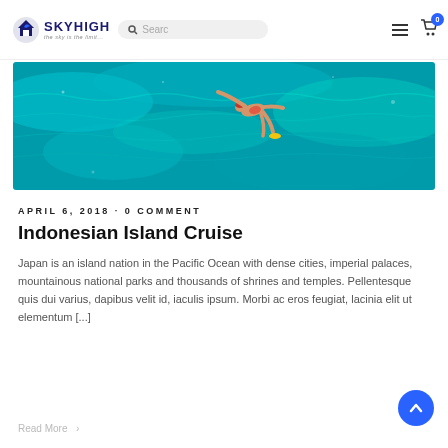SKY HIGH TRAVELS — Navigation bar with logo, search, hamburger menu, and cart icon
[Figure (photo): Aerial view of a person swimming/snorkeling in clear turquoise tropical ocean water]
APRIL 6, 2018 · 0 COMMENT
Indonesian Island Cruise
Japan is an island nation in the Pacific Ocean with dense cities, imperial palaces, mountainous national parks and thousands of shrines and temples. Pellentesque quis dui varius, dapibus velit id, iaculis ipsum. Morbi ac eros feugiat, lacinia elit ut elementum [...]
Read More >